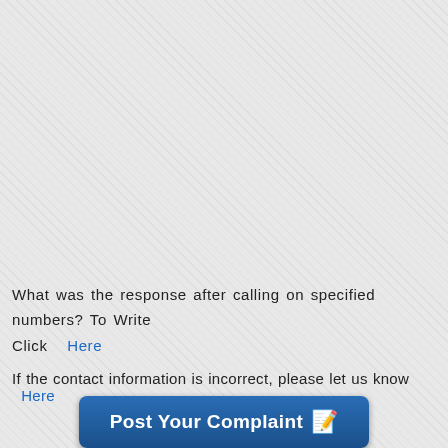What was the response after calling on specified numbers? To Write Click  Here
If the contact information is incorrect, please let us know   Here
[Figure (other): A dark blue button labeled 'Post Your Complaint' with a notepad and pencil icon on the right]